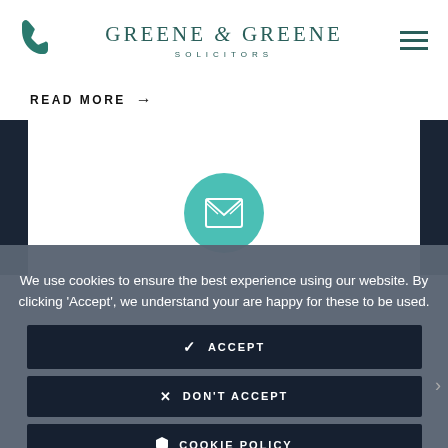Greene & Greene Solicitors
READ MORE →
[Figure (logo): Greene & Greene Solicitors logo with phone icon and hamburger menu]
[Figure (illustration): Teal circle with white envelope icon, positioned over a white card area with dark navy side panels]
We use cookies to ensure the best experience using our website. By clicking 'Accept', we understand your are happy for these to be used.
✓ ACCEPT
✕ DON'T ACCEPT
🛡 COOKIE POLICY